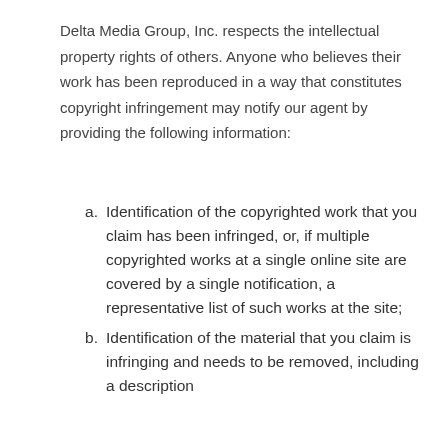Delta Media Group, Inc. respects the intellectual property rights of others. Anyone who believes their work has been reproduced in a way that constitutes copyright infringement may notify our agent by providing the following information:
a. Identification of the copyrighted work that you claim has been infringed, or, if multiple copyrighted works at a single online site are covered by a single notification, a representative list of such works at the site;
b. Identification of the material that you claim is infringing and needs to be removed, including a description of where it is located so that the